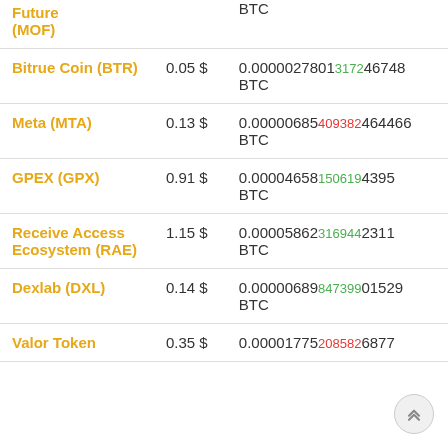| Coin | Price | BTC Value |
| --- | --- | --- |
| Future (MOF) |  | BTC |
| Bitrue Coin (BTR) | 0.05 $ | 0.00000278013172467​48 BTC |
| Meta (MTA) | 0.13 $ | 0.000006854093824​64466 BTC |
| GPEX (GPX) | 0.91 $ | 0.000046581506​1943​95 BTC |
| Receive Access Ecosystem (RAE) | 1.15 $ | 0.000058623169442311 BTC |
| Dexlab (DXL) | 0.14 $ | 0.000006898473901529 BTC |
| Valor Token | 0.35 $ | 0.000017752085826877 BTC |